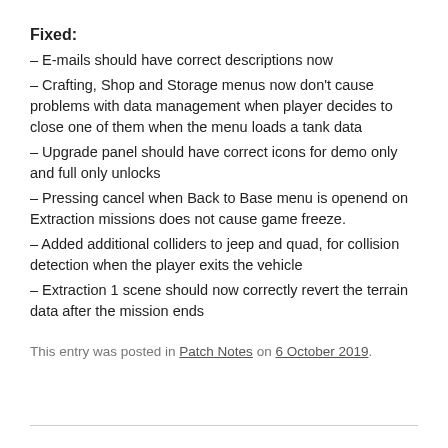Fixed:
– E-mails should have correct descriptions now
– Crafting, Shop and Storage menus now don't cause problems with data management when player decides to close one of them when the menu loads a tank data
– Upgrade panel should have correct icons for demo only and full only unlocks
– Pressing cancel when Back to Base menu is openend on Extraction missions does not cause game freeze.
– Added additional colliders to jeep and quad, for collision detection when the player exits the vehicle
– Extraction 1 scene should now correctly revert the terrain data after the mission ends
This entry was posted in Patch Notes on 6 October 2019.